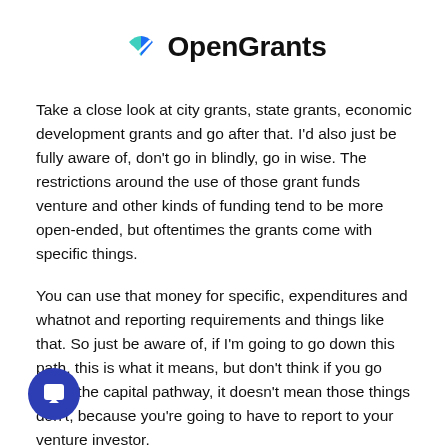OpenGrants
Take a close look at city grants, state grants, economic development grants and go after that. I'd also just be fully aware of, don't go in blindly, go in wise. The restrictions around the use of those grant funds venture and other kinds of funding tend to be more open-ended, but oftentimes the grants come with specific things.
You can use that money for specific, expenditures and whatnot and reporting requirements and things like that. So just be aware of, if I'm going to go down this path, this is what it means, but don't think if you go down the capital pathway, it doesn't mean those things don't, because you're going to have to report to your venture investor.